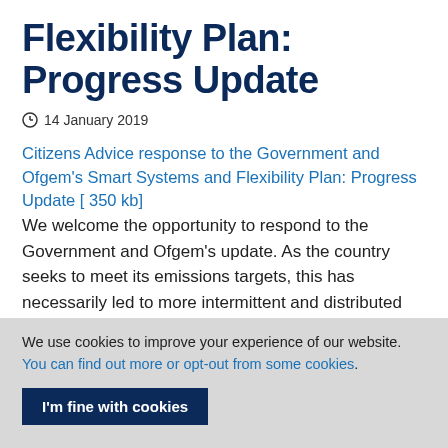Flexibility Plan: Progress Update
14 January 2019
Citizens Advice response to the Government and Ofgem's Smart Systems and Flexibility Plan: Progress Update [ 350 kb]
We welcome the opportunity to respond to the Government and Ofgem's update. As the country seeks to meet its emissions targets, this has necessarily led to more intermittent and distributed forms of generation connecting to the grid. With these increases there are new challenges relating to
We use cookies to improve your experience of our website. You can find out more or opt-out from some cookies.